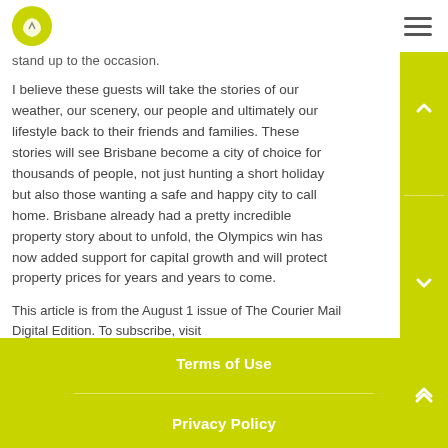Navigation header with logo and hamburger menu
stand up to the occasion.
I believe these guests will take the stories of our weather, our scenery, our people and ultimately our lifestyle back to their friends and families. These stories will see Brisbane become a city of choice for thousands of people, not just hunting a short holiday but also those wanting a safe and happy city to call home. Brisbane already had a pretty incredible property story about to unfold, the Olympics win has now added support for capital growth and will protect property prices for years and years to come.
This article is from the August 1 issue of The Courier Mail Digital Edition. To subscribe, visit https://www.couriermail.com.au/.
Terms of Use
Privacy Policy